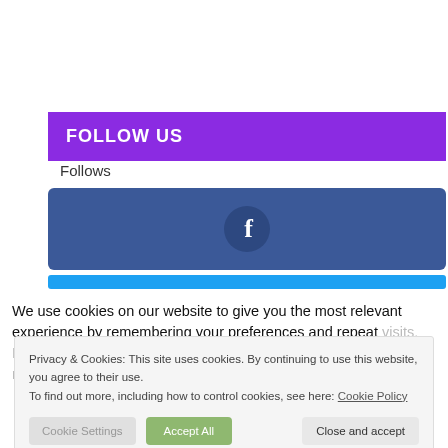FOLLOW US
Follows
[Figure (other): Facebook follow button with Facebook 'f' icon on blue background]
[Figure (other): Twitter/social media strip in cyan blue]
We use cookies on our website to give you the most relevant experience by remembering your preferences and repeat visits. By clicking Accept All, you consent to the use of ALL cookies. You may visit Cookie Settings to provide a controlled consent.
Privacy & Cookies: This site uses cookies. By continuing to use this website, you agree to their use.
To find out more, including how to control cookies, see here: Cookie Policy
Cookie Settings
Accept All
Close and accept